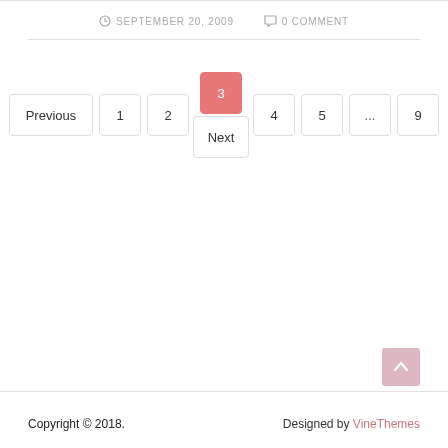SEPTEMBER 20, 2009  0 COMMENT
Previous 1 2 3 4 5 ... 9 Next
Copyright © 2018.  Designed by VineThemes